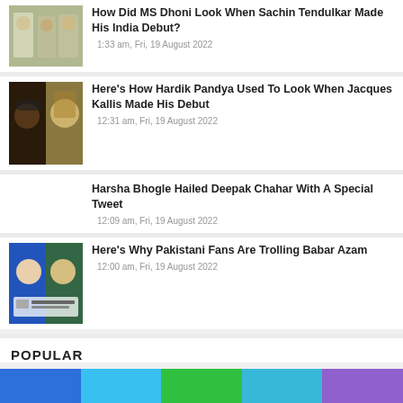[Figure (photo): Young cricketers photo - MS Dhoni era]
How Did MS Dhoni Look When Sachin Tendulkar Made His India Debut?
1:33 am, Fri, 19 August 2022
[Figure (photo): Hardik Pandya and Jacques Kallis young photo]
Here's How Hardik Pandya Used To Look When Jacques Kallis Made His Debut
12:31 am, Fri, 19 August 2022
Harsha Bhogle Hailed Deepak Chahar With A Special Tweet
12:09 am, Fri, 19 August 2022
[Figure (photo): Virat Kohli and Babar Azam photo with tweet overlay]
Here's Why Pakistani Fans Are Trolling Babar Azam
12:00 am, Fri, 19 August 2022
POPULAR